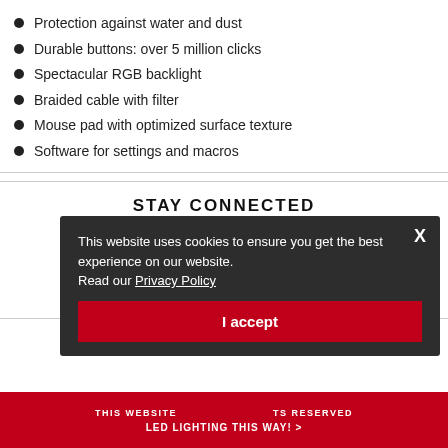Protection against water and dust
Durable buttons: over 5 million clicks
Spectacular RGB backlight
Braided cable with filter
Mouse pad with optimized surface texture
Software for settings and macros
STAY CONNECTED
SIGN UP
[Figure (illustration): Social media icons: Facebook, Twitter, LinkedIn, Pinterest]
HELP & INFO +
THIS WEBSITE … ALL RIGHTS RESERVED
LED LIGHTING THIS WAY! >
This website uses cookies to ensure you get the best experience on our website. Read our Privacy Policy
I accept